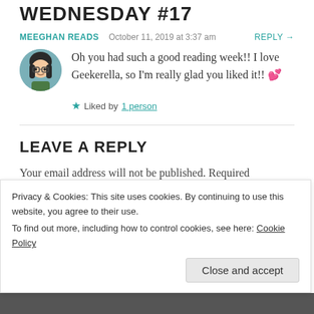WEDNESDAY #17
MEEGHAN READS   October 11, 2019 at 3:37 am   REPLY →
Oh you had such a good reading week!! I love Geekerella, so I'm really glad you liked it!! 💕
★ Liked by 1 person
LEAVE A REPLY
Your email address will not be published. Required
Privacy & Cookies: This site uses cookies. By continuing to use this website, you agree to their use.
To find out more, including how to control cookies, see here: Cookie Policy
Close and accept